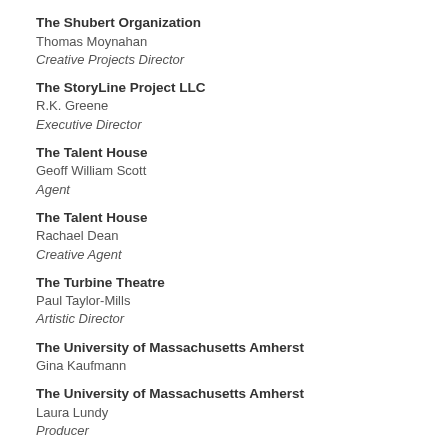The Shubert Organization
Thomas Moynahan
Creative Projects Director
The StoryLine Project LLC
R.K. Greene
Executive Director
The Talent House
Geoff William Scott
Agent
The Talent House
Rachael Dean
Creative Agent
The Turbine Theatre
Paul Taylor-Mills
Artistic Director
The University of Massachusetts Amherst
Gina Kaufmann
The University of Massachusetts Amherst
Laura Lundy
Producer